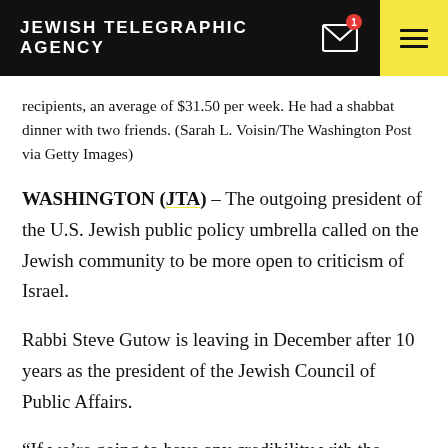JEWISH TELEGRAPHIC AGENCY
recipients, an average of $31.50 per week. He had a shabbat dinner with two friends. (Sarah L. Voisin/The Washington Post via Getty Images)
WASHINGTON (JTA) – The outgoing president of the U.S. Jewish public policy umbrella called on the Jewish community to be more open to criticism of Israel.
Rabbi Steve Gutow is leaving in December after 10 years as the president of the Jewish Council of Public Affairs.
“If we’re going to have any credibility with the liberal community when we fight BDS, and any credibility